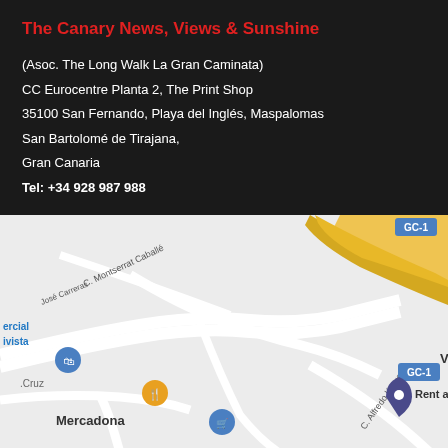The Canary News, Views & Sunshine
(Asoc. The Long Walk La Gran Caminata)
CC Eurocentre Planta 2, The Print Shop
35100 San Fernando, Playa del Inglés, Maspalomas
San Bartolomé de Tirajana,
Gran Canaria
Tel: +34 928 987 988
[Figure (map): Google Maps screenshot showing the area around San Fernando, Playa del Inglés, Maspalomas, Gran Canaria. Shows roads including GC-1 motorway, streets C. Montserrat Caballé and José Carreras, landmarks including Villa Lovisi 2, Rent a Car Baez Santana, Mercadona, and other local businesses.]
Duran Du... LIVE